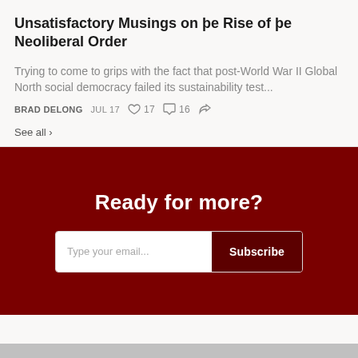Unsatisfactory Musings on þe Rise of þe Neoliberal Order
Trying to come to grips with the fact that post-World War II Global North social democracy failed its sustainability test...
BRAD DELONG · JUL 17 · ♡ 17 · 💬 16
See all ›
Ready for more?
Type your email... Subscribe